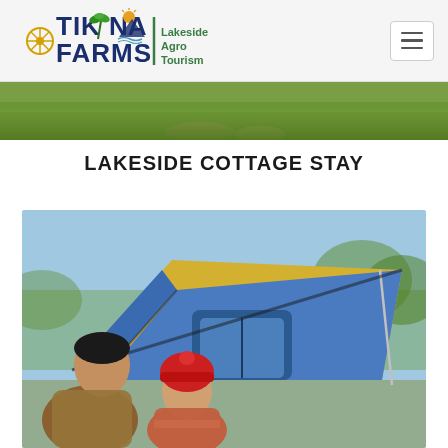[Figure (logo): Tikona Farms Lakeside Agro Tourism logo with decorative icons]
[Figure (photo): Partial view of green landscape / grass field at the top]
LAKESIDE COTTAGE STAY
[Figure (photo): Children standing in front of a blue and yellow dome tent outdoors]